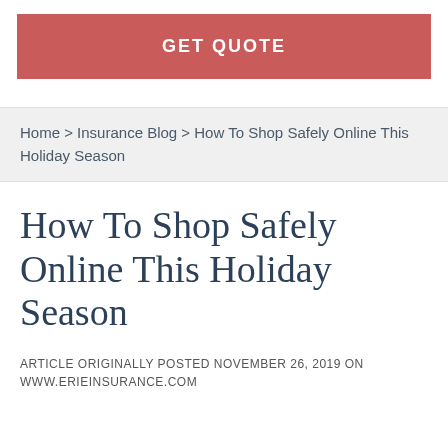GET QUOTE
Home > Insurance Blog > How To Shop Safely Online This Holiday Season
How To Shop Safely Online This Holiday Season
ARTICLE ORIGINALLY POSTED NOVEMBER 26, 2019 ON WWW.ERIEINSURANCE.COM